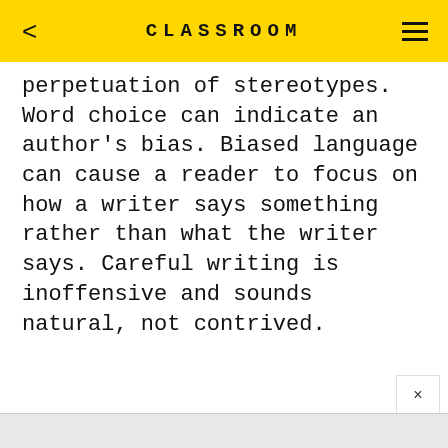CLASSROOM
perpetuation of stereotypes. Word choice can indicate an author's bias. Biased language can cause a reader to focus on how a writer says something rather than what the writer says. Careful writing is inoffensive and sounds natural, not contrived.
EXPLORE THIS ARTICLE